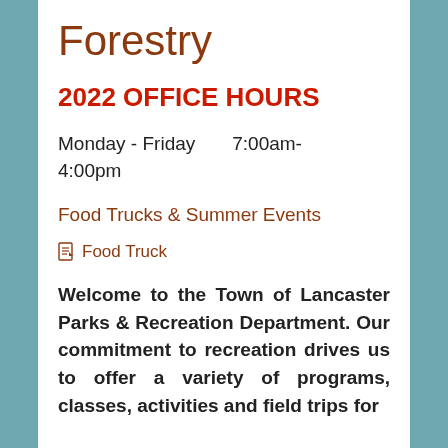Forestry
2022 OFFICE HOURS
Monday - Friday      7:00am- 4:00pm
Food Trucks & Summer Events
Food Truck
Welcome to the Town of Lancaster Parks & Recreation Department.  Our commitment to recreation drives us to offer a variety of programs, classes, activities and field trips for